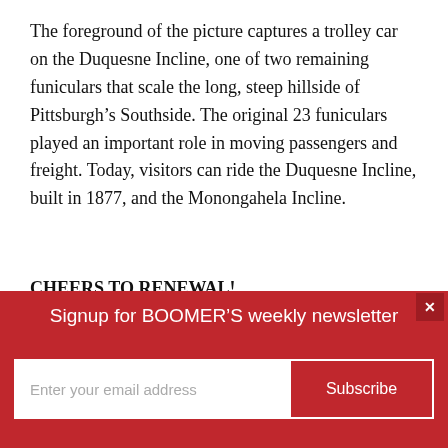The foreground of the picture captures a trolley car on the Duquesne Incline, one of two remaining funiculars that scale the long, steep hillside of Pittsburgh's Southside. The original 23 funiculars played an important role in moving passengers and freight. Today, visitors can ride the Duquesne Incline, built in 1877, and the Monongahela Incline.
CHEERS TO RENEWAL!
Pittsburgh's dynamic drink scene mirrors the city's renewal and the area's history. After all, the 18th-centu Whiskey Rebellion was centered in western
[Figure (other): Newsletter signup popup banner in red with text 'Signup for BOOMER'S weekly newsletter', email input field, Subscribe button, and close X button]
Signup for BOOMER'S weekly newsletter
Enter your email address
Subscribe